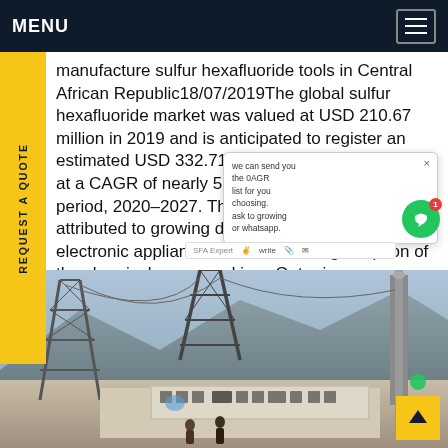MENU
manufacture sulfur hexafluoride tools in Central African Republic18/07/2019The global sulfur hexafluoride market was valued at USD 210.67 million in 2019 and is anticipated to register an estimated USD 332.71 million by 2027, expanding at a CAGR of nearly 5.9% during the forecast period, 2020–2027. The growth of the market is attributed to growing demand for electrical and electronic appliances as well as rising adoption of the chemical compound in… Get price
[Figure (photo): Electrical power transmission towers and infrastructure with mountains in background, street scene with Chinese signage]